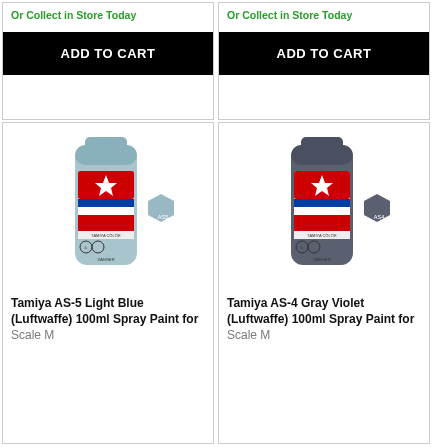Or Collect in Store Today
ADD TO CART
Or Collect in Store Today
ADD TO CART
[Figure (photo): Tamiya AS-5 Light Blue spray paint can with color swatch chip labeled AS5]
Tamiya AS-5 Light Blue (Luftwaffe) 100ml Spray Paint for Scale M...
[Figure (photo): Tamiya AS-4 Gray Violet spray paint can with color swatch chip labeled AS4]
Tamiya AS-4 Gray Violet (Luftwaffe) 100ml Spray Paint for Scale M...